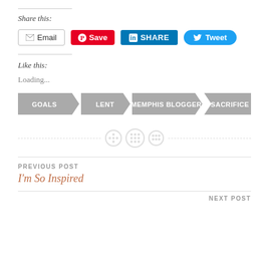Share this:
[Figure (infographic): Social sharing buttons: Email, Pinterest Save, LinkedIn SHARE, Twitter Tweet]
Like this:
Loading...
[Figure (infographic): Tag chevron banner with tags: GOALS, LENT, MEMPHIS BLOGGER, SACRIFICE]
[Figure (infographic): Decorative dashed divider with three button icons]
PREVIOUS POST
I'm So Inspired
NEXT POST